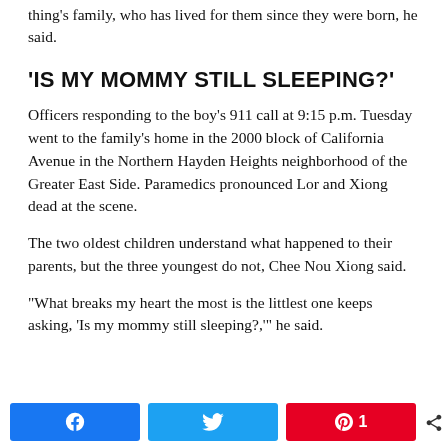thing's family, who has lived for them since they were born, he said.
'IS MY MOMMY STILL SLEEPING?'
Officers responding to the boy's 911 call at 9:15 p.m. Tuesday went to the family's home in the 2000 block of California Avenue in the Northern Hayden Heights neighborhood of the Greater East Side. Paramedics pronounced Lor and Xiong dead at the scene.
The two oldest children understand what happened to their parents, but the three youngest do not, Chee Nou Xiong said.
“What breaks my heart the most is the littlest one keeps asking, ‘Is my mommy still sleeping?,’” he said.